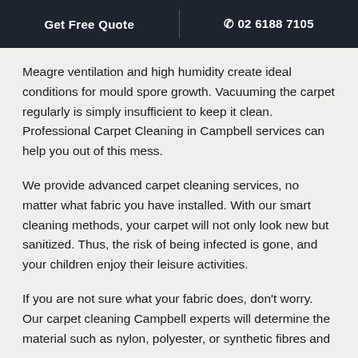Get Free Quote | 02 6188 7105
Meagre ventilation and high humidity create ideal conditions for mould spore growth. Vacuuming the carpet regularly is simply insufficient to keep it clean. Professional Carpet Cleaning in Campbell services can help you out of this mess.
We provide advanced carpet cleaning services, no matter what fabric you have installed. With our smart cleaning methods, your carpet will not only look new but sanitized. Thus, the risk of being infected is gone, and your children enjoy their leisure activities.
If you are not sure what your fabric does, don't worry. Our carpet cleaning Campbell experts will determine the material such as nylon, polyester, or synthetic fibres and